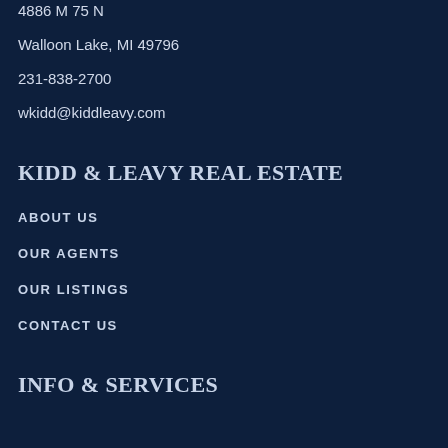4886 M 75 N
Walloon Lake, MI 49796
231-838-2700
wkidd@kiddleavy.com
KIDD & LEAVY REAL ESTATE
ABOUT US
OUR AGENTS
OUR LISTINGS
CONTACT US
INFO & SERVICES